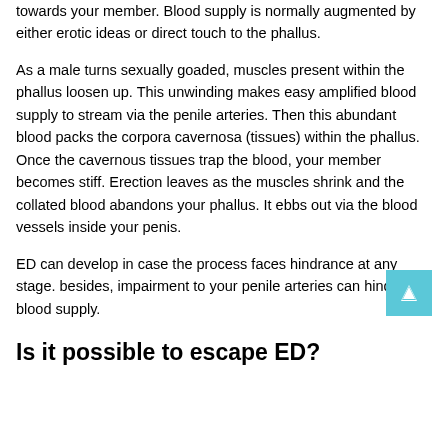towards your member. Blood supply is normally augmented by either erotic ideas or direct touch to the phallus.
As a male turns sexually goaded, muscles present within the phallus loosen up. This unwinding makes easy amplified blood supply to stream via the penile arteries. Then this abundant blood packs the corpora cavernosa (tissues) within the phallus. Once the cavernous tissues trap the blood, your member becomes stiff. Erection leaves as the muscles shrink and the collated blood abandons your phallus. It ebbs out via the blood vessels inside your penis.
ED can develop in case the process faces hindrance at any stage. besides, impairment to your penile arteries can hinder the blood supply.
Is it possible to escape ED?